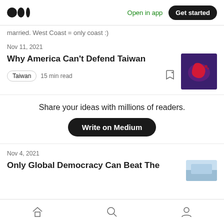Medium logo | Open in app | Get started
married. West Coast = only coast :)
Nov 11, 2021
Why America Can't Defend Taiwan
Taiwan  15 min read
[Figure (photo): Thumbnail image for article: map with red landmass on dark purple background]
Share your ideas with millions of readers.
Write on Medium
Nov 4, 2021
Only Global Democracy Can Beat The
[Figure (photo): Thumbnail image for second article]
Home | Search | Profile